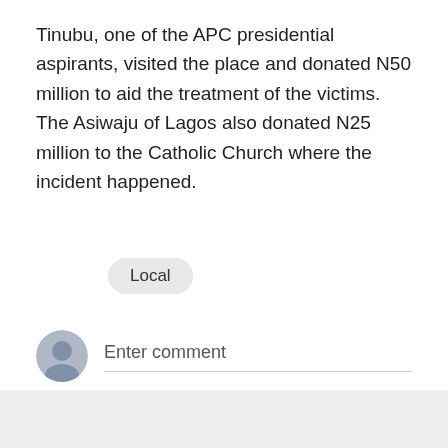Tinubu, one of the APC presidential aspirants, visited the place and donated N50 million to aid the treatment of the victims. The Asiwaju of Lagos also donated N25 million to the Catholic Church where the incident happened.
Local
Enter comment
Popular posts from this blog